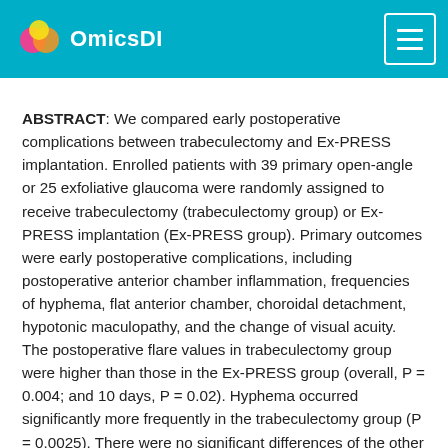OmicsDI
ABSTRACT: We compared early postoperative complications between trabeculectomy and Ex-PRESS implantation. Enrolled patients with 39 primary open-angle or 25 exfoliative glaucoma were randomly assigned to receive trabeculectomy (trabeculectomy group) or Ex-PRESS implantation (Ex-PRESS group). Primary outcomes were early postoperative complications, including postoperative anterior chamber inflammation, frequencies of hyphema, flat anterior chamber, choroidal detachment, hypotonic maculopathy, and the change of visual acuity. The postoperative flare values in trabeculectomy group were higher than those in the Ex-PRESS group (overall, P = 0.004; and 10 days, P = 0.02). Hyphema occurred significantly more frequently in the trabeculectomy group (P = 0.0025). There were no significant differences of the other primary outcomes between the two groups. Additionally, duration of anterior chamber opening was significantly shorter in the Ex-PRESS group (P = 0.0002) and the eyes that had iris contact with Ex-PRESS tube had significantly shallower anterior chambers than did the eyes